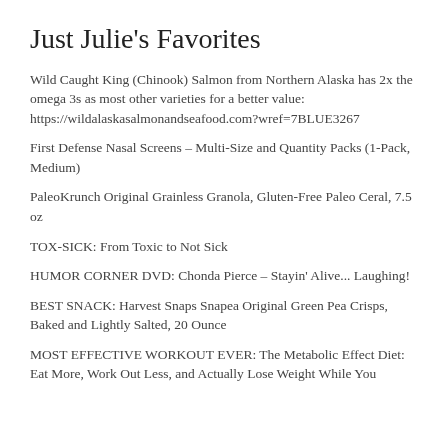Just Julie's Favorites
Wild Caught King (Chinook) Salmon from Northern Alaska has 2x the omega 3s as most other varieties for a better value: https://wildalaskasalmonandseafood.com?wref=7BLUE3267
First Defense Nasal Screens – Multi-Size and Quantity Packs (1-Pack, Medium)
PaleoKrunch Original Grainless Granola, Gluten-Free Paleo Ceral, 7.5 oz
TOX-SICK: From Toxic to Not Sick
HUMOR CORNER DVD: Chonda Pierce – Stayin' Alive... Laughing!
BEST SNACK: Harvest Snaps Snapea Original Green Pea Crisps, Baked and Lightly Salted, 20 Ounce
MOST EFFECTIVE WORKOUT EVER: The Metabolic Effect Diet: Eat More, Work Out Less, and Actually Lose Weight While You